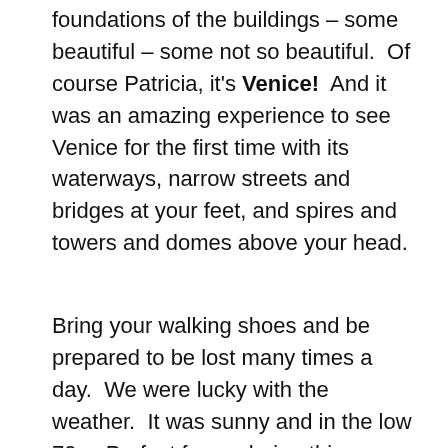foundations of the buildings – some beautiful – some not so beautiful.  Of course Patricia, it's Venice!  And it was an amazing experience to see Venice for the first time with its waterways, narrow streets and bridges at your feet, and spires and towers and domes above your head.
Bring your walking shoes and be prepared to be lost many times a day.  We were lucky with the weather.  It was sunny and in the low 70s.  Perfect for exploring this fascinating city.  Did I mention shopping?  Be sure to bring your cash or credit
[Figure (photo): Two side-by-side photos. Left photo shows a dark green door set into a light-colored plastered building wall with steps. Right photo shows a narrow passage between brick buildings with a wooden shutter visible.]